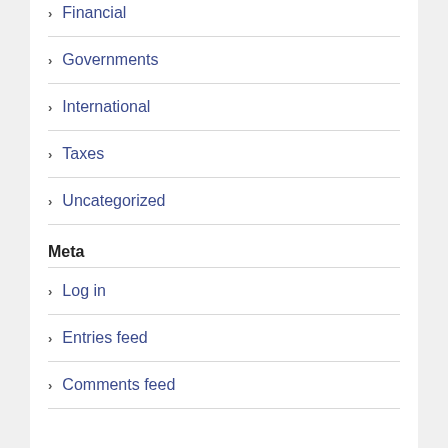Financial
Governments
International
Taxes
Uncategorized
Meta
Log in
Entries feed
Comments feed